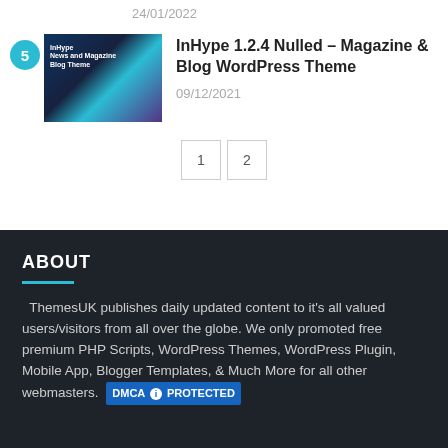24/01/2022
[Figure (screenshot): InHype WordPress theme screenshot showing magazine/blog layout with dark background and colorful UI elements. Badge number 5 in cyan circle top-left.]
InHype 1.2.4 Nulled – Magazine & Blog WordPress Theme
09/12/2021
1   2
ABOUT
ThemesUK publishes daily updated content to it's all valued users/visitors from all over the globe. We only promoted free premium PHP Scripts, WordPress Themes, WordPress Plugin, Mobile App, Blogger Templates, & Much More for all other webmasters.